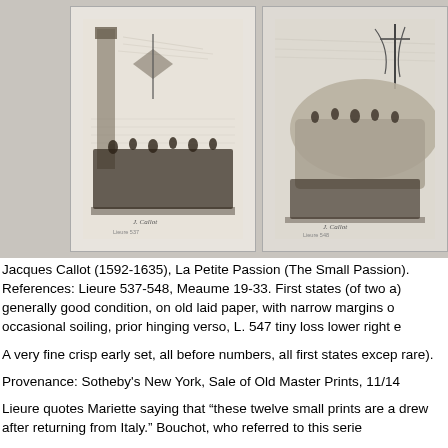[Figure (photo): Two etchings by Jacques Callot from La Petite Passion series, side by side on a grey background. Left etching shows a crowded scene with figures and a tall architectural element. Right etching shows a rocky outcrop with figures and vegetation.]
Jacques Callot (1592-1635), La Petite Passion (The Small Passion). References: Lieure 537-548, Meaume 19-33. First states (of two a) generally good condition, on old laid paper, with narrow margins o occasional soiling, prior hinging verso, L. 547 tiny loss lower right e
A very fine crisp early set, all before numbers, all first states excep rare).
Provenance: Sotheby's New York, Sale of Old Master Prints, 11/14
Lieure quotes Mariette saying that “these twelve small prints are a drew after returning from Italy.” Bouchot, who referred to this serie